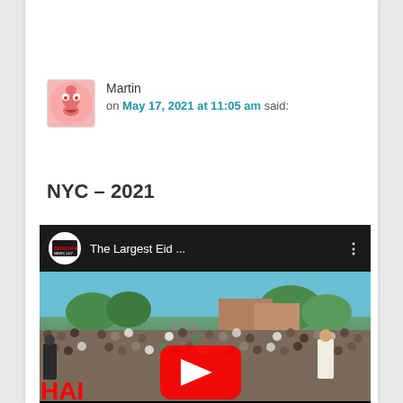Martin
on May 17, 2021 at 11:05 am said:
NYC – 2021
[Figure (screenshot): YouTube video thumbnail showing 'The Largest Eid ...' by BENGSHAI channel, with a large outdoor crowd gathered, and a YouTube play button overlay. Text 'HAI' visible at bottom left.]